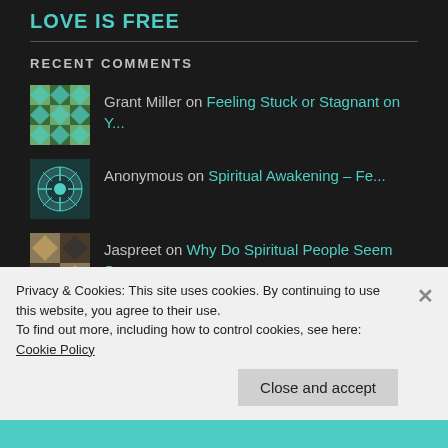LOVE IS FREE
RECENT COMMENTS
Grant Miller on Feeling Stuck or Stagnant on Y...
Anonymous on Spiritual Awakening – Fe...
Jaspreet on Why Do Spiritual People Seem S...
leftbaker on Casual Romance
Privacy & Cookies: This site uses cookies. By continuing to use this website, you agree to their use. To find out more, including how to control cookies, see here: Cookie Policy
Close and accept